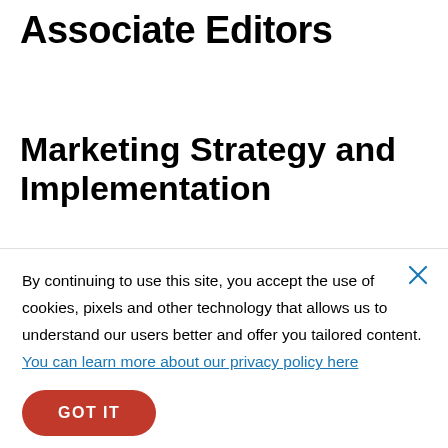Associate Editors
Marketing Strategy and Implementation
By continuing to use this site, you accept the use of cookies, pixels and other technology that allows us to understand our users better and offer you tailored content. You can learn more about our privacy policy here
GOT IT